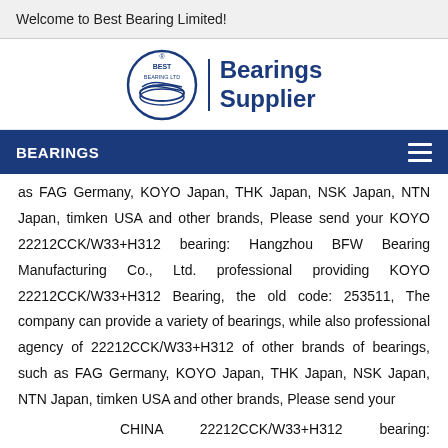Welcome to Best Bearing Limited!
[Figure (logo): Best Bearing Ltd logo with circular emblem and 'Bearings Supplier' text in dark blue]
BEARINGS
as FAG Germany, KOYO Japan, THK Japan, NSK Japan, NTN Japan, timken USA and other brands, Please send your KOYO 22212CCK/W33+H312 bearing: Hangzhou BFW Bearing Manufacturing Co., Ltd. professional providing KOYO 22212CCK/W33+H312 Bearing, the old code: 253511, The company can provide a variety of bearings, while also professional agency of 22212CCK/W33+H312 of other brands of bearings, such as FAG Germany, KOYO Japan, THK Japan, NSK Japan, NTN Japan, timken USA and other brands, Please send your
CHINA 22212CCK/W33+H312 bearing: Hangzhou BFW